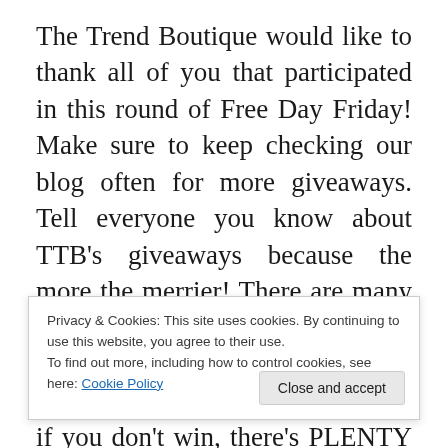The Trend Boutique would like to thank all of you that participated in this round of Free Day Friday! Make sure to keep checking our blog often for more giveaways. Tell everyone you know about TTB's giveaways because the more the merrier! There are many more prizes for you all, so make sure to always visit our blog and stay informed. Don't be bummed if you don't win, there's PLENTY more. But be fair about it and don't enter under different names
Privacy & Cookies: This site uses cookies. By continuing to use this website, you agree to their use. To find out more, including how to control cookies, see here: Cookie Policy